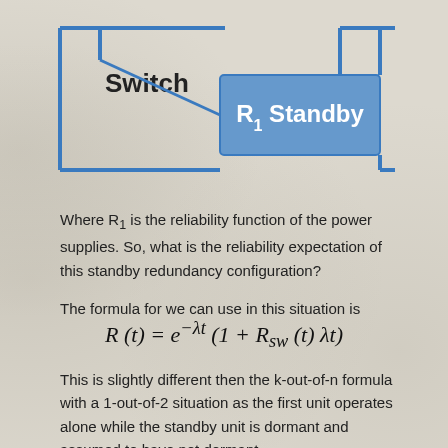[Figure (schematic): Standby redundancy diagram showing a Switch connected diagonally to an R1 Standby block (blue rectangle), with horizontal lines top and bottom connecting to a larger system. The R1 Standby block is labeled in white text on a blue background.]
Where R1 is the reliability function of the power supplies. So, what is the reliability expectation of this standby redundancy configuration?
The formula for we can use in this situation is
This is slightly different then the k-out-of-n formula with a 1-out-of-2 situation as the first unit operates alone while the standby unit is dormant and assumed to have not dormant